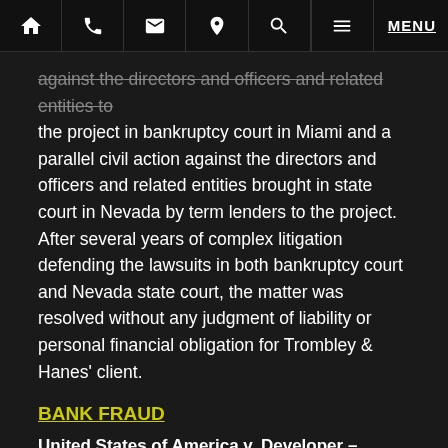Navigation bar with home, phone, email, location, search, menu icons
against the directors and officers and related entities to the project in bankruptcy court in Miami and a parallel civil action against the directors and officers and related entities brought in state court in Nevada by term lenders to the project. After several years of complex litigation defending the lawsuits in both bankruptcy court and Nevada state court, the matter was resolved without any judgment of liability or personal financial obligation for Trombley & Hanes' client.
BANK FRAUD
United States of America v. Developer – United States District Court, Middle District of Florida – Trombley & Hanes, P.A. represented a developer charged with participating in a nationwide mortgage fraud scheme perpetrated by two real estate investors. Trombley & Hanes, P.A. negotiated a resolution with the government